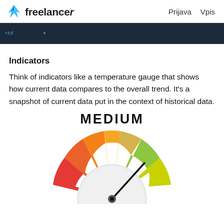Freelancer  Prijava  Vpis
[Figure (screenshot): Dark navy banner with small code/HTML snippet text visible]
Indicators
Think of indicators like a temperature gauge that shows how current data compares to the overall trend. It's a snapshot of current data put in the context of historical data.
[Figure (infographic): A gauge/speedometer dial showing MEDIUM level. The dial has colored segments from red (left) through orange, yellow-orange, yellow-green to yellow (right), with a needle pointing toward the middle (medium) zone. The word MEDIUM appears above the gauge.]